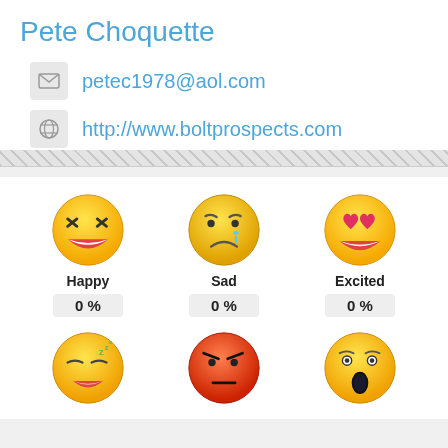Pete Choquette
petec1978@aol.com
http://www.boltprospects.com
[Figure (infographic): Six emoji faces in a 3x2 grid: Happy (laughing face), Sad (crying face), Excited (heart-eyes face), Sleepy (zzz face), Angry (red angry face), Surprised (open-mouth face), each with label and 0% stat below]
Happy 0 %
Sad 0 %
Excited 0 %